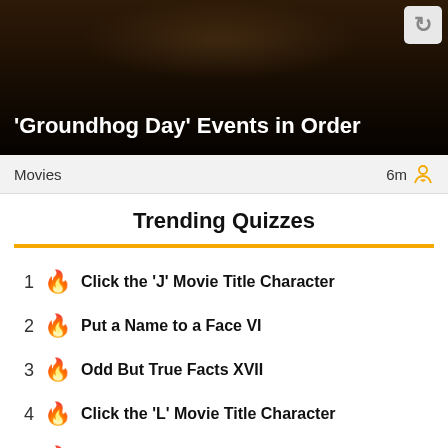[Figure (photo): Dark cinematic photo of a person in a suit, used as hero banner for 'Groundhog Day' Events in Order quiz]
'Groundhog Day' Events in Order
Movies   6m
Trending Quizzes
1  Click the 'J' Movie Title Character
2  Put a Name to a Face VI
3  Odd But True Facts XVII
4  Click the 'L' Movie Title Character
5  Click the 'K' Movie Title Character